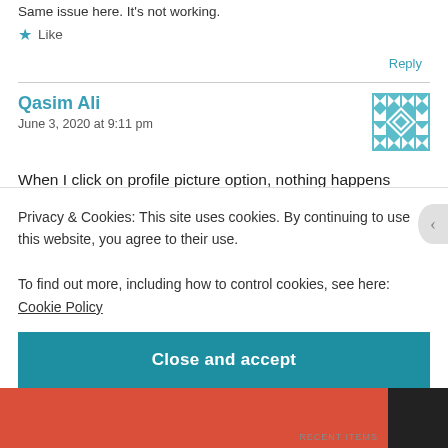Same issue here. It's not working.
★ Like
Reply
Qasim Ali
June 3, 2020 at 9:11 pm
When I click on profile picture option, nothing happens and URL changes from
Privacy & Cookies: This site uses cookies. By continuing to use this website, you agree to their use.
To find out more, including how to control cookies, see here: Cookie Policy
Close and accept